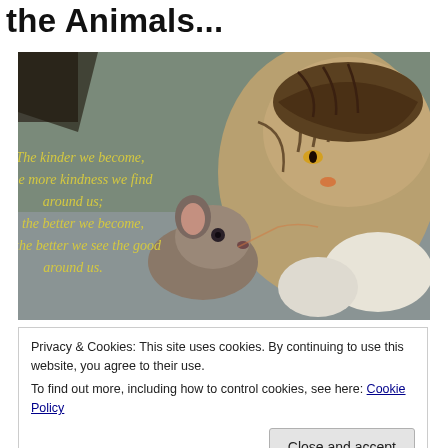the Animals...
[Figure (photo): A tabby cat touching noses with a small brown mouse, lying on a grey surface. Overlaid italic yellow text reads: 'The kinder we become, the more kindness we find around us; the better we become, the better we see the good around us.']
Privacy & Cookies: This site uses cookies. By continuing to use this website, you agree to their use.
To find out more, including how to control cookies, see here: Cookie Policy
Close and accept